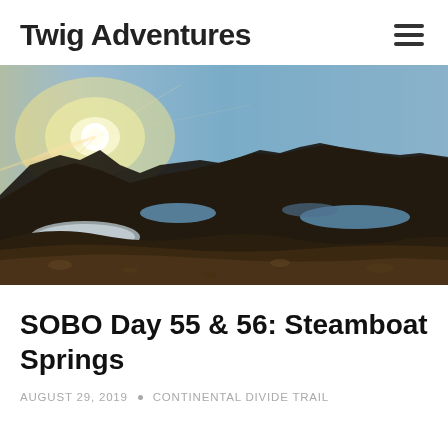Twig Adventures
[Figure (photo): Panoramic mountain landscape at sunrise/sunset with alpine lakes, rocky terrain, jagged peaks silhouetted against a blue sky, and a bright sun with lens flare in the upper left]
SOBO Day 55 & 56: Steamboat Springs
AUGUST 29, 2019 • CONTINENTAL DIVIDE TRAIL